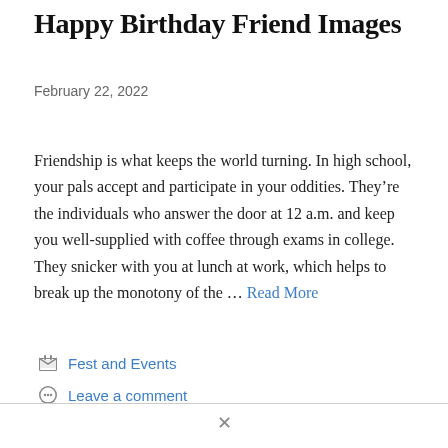Happy Birthday Friend Images
February 22, 2022
Friendship is what keeps the world turning. In high school, your pals accept and participate in your oddities. They're the individuals who answer the door at 12 a.m. and keep you well-supplied with coffee through exams in college. They snicker with you at lunch at work, which helps to break up the monotony of the … Read More
Fest and Events
Leave a comment